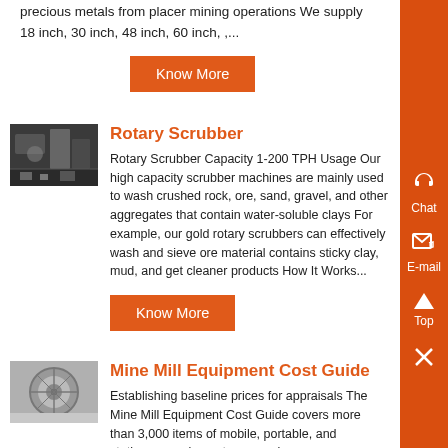precious metals from placer mining operations We supply 18 inch, 30 inch, 48 inch, 60 inch, ,...
Know More
[Figure (photo): Industrial machinery interior, Rotary Scrubber equipment photo]
Rotary Scrubber
Rotary Scrubber Capacity 1-200 TPH Usage Our high capacity scrubber machines are mainly used to wash crushed rock, ore, sand, gravel, and other aggregates that contain water-soluble clays For example, our gold rotary scrubbers can effectively wash and sieve ore material contains sticky clay, mud, and get cleaner products How It Works...
Know More
[Figure (photo): Mine mill equipment, circular blade or disc component photo]
Mine Mill Equipment Cost Guide
Establishing baseline prices for appraisals The Mine Mill Equipment Cost Guide covers more than 3,000 items of mobile, portable, and stationary equipment commonly